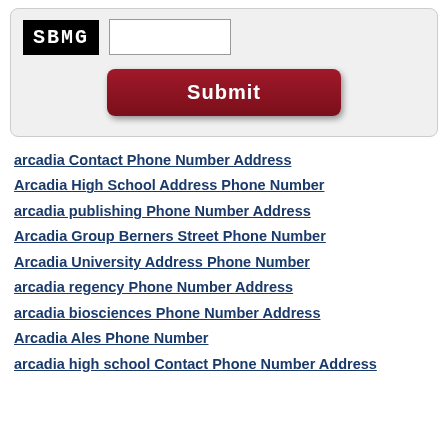[Figure (screenshot): CAPTCHA widget showing 'SBMG' text in a black box next to a blank white input field, with a dark red rounded Submit button below]
arcadia Contact Phone Number Address
Arcadia High School Address Phone Number
arcadia publishing Phone Number Address
Arcadia Group Berners Street Phone Number
Arcadia University Address Phone Number
arcadia regency Phone Number Address
arcadia biosciences Phone Number Address
Arcadia Ales Phone Number
arcadia high school Contact Phone Number Address